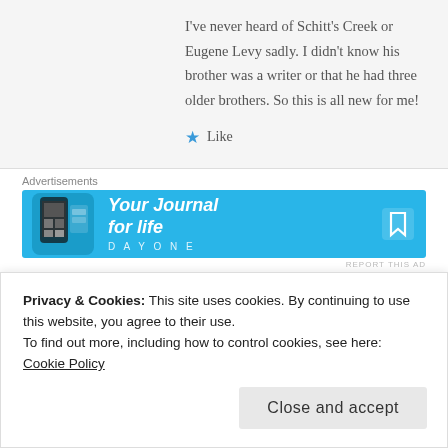I've never heard of Schitt's Creek or Eugene Levy sadly. I didn't know his brother was a writer or that he had three older brothers. So this is all new for me!
★ Like
Advertisements
[Figure (infographic): Advertisement banner for Day One journal app with blue background, phone image, and text 'Your Journal for life']
REPORT THIS AD
keepsmealive
February 15, 2021 at 12:16 pm
Privacy & Cookies: This site uses cookies. By continuing to use this website, you agree to their use.
To find out more, including how to control cookies, see here: Cookie Policy
Close and accept
REPLY